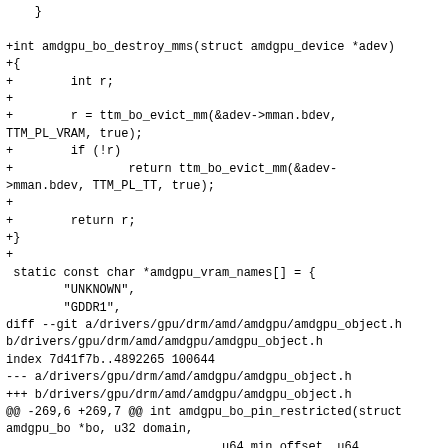}

+int amdgpu_bo_destroy_mms(struct amdgpu_device *adev)
+{
+        int r;
+
+        r = ttm_bo_evict_mm(&adev->mman.bdev,
TTM_PL_VRAM, true);
+        if (!r)
+                return ttm_bo_evict_mm(&adev-
>mman.bdev, TTM_PL_TT, true);
+
+        return r;
+}
+
 static const char *amdgpu_vram_names[] = {
        "UNKNOWN",
        "GDDR1",
diff --git a/drivers/gpu/drm/amd/amdgpu/amdgpu_object.h b/drivers/gpu/drm/amd/amdgpu/amdgpu_object.h
index 7d41f7b..4892265 100644
--- a/drivers/gpu/drm/amd/amdgpu/amdgpu_object.h
+++ b/drivers/gpu/drm/amd/amdgpu/amdgpu_object.h
@@ -269,6 +269,7 @@ int amdgpu_bo_pin_restricted(struct
amdgpu_bo *bo, u32 domain,
                              u64 min_offset, u64
max_offset);
 int amdgpu_bo_unpin(struct amdgpu_bo *bo);
 int amdgpu_bo_evict_vram(struct amdgpu_device *adev);
+int amdgpu_bo_destroy_mms(struct amdgpu_device *adev);